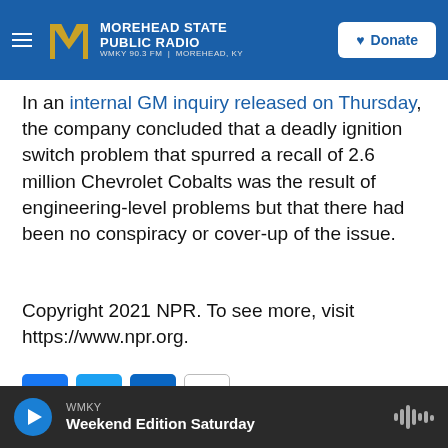Morehead State Public Radio — WMKY 90.3 FM | Morehead, KY — Donate
In an internal GM inquiry released on Thursday, the company concluded that a deadly ignition switch problem that spurred a recall of 2.6 million Chevrolet Cobalts was the result of engineering-level problems but that there had been no conspiracy or cover-up of the issue.
Copyright 2021 NPR. To see more, visit https://www.npr.org.
[Figure (other): Social share buttons: Facebook, Twitter, LinkedIn, Email]
WMKY — Weekend Edition Saturday — audio player